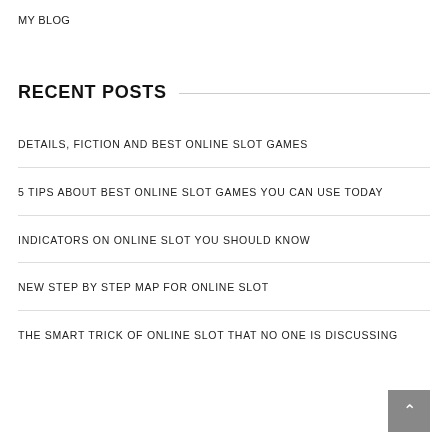MY BLOG
RECENT POSTS
DETAILS, FICTION AND BEST ONLINE SLOT GAMES
5 TIPS ABOUT BEST ONLINE SLOT GAMES YOU CAN USE TODAY
INDICATORS ON ONLINE SLOT YOU SHOULD KNOW
NEW STEP BY STEP MAP FOR ONLINE SLOT
THE SMART TRICK OF ONLINE SLOT THAT NO ONE IS DISCUSSING